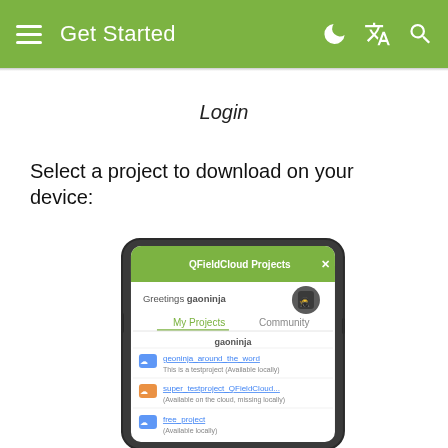Get Started
Login
Select a project to download on your device:
[Figure (screenshot): Mobile phone screenshot showing QFieldCloud Projects dialog with tabs 'My Projects' and 'Community', greeting 'Greetings gaeninja', and a list of projects: geoninja_around_the_word (This is a testproject (Available locally)), super_testproject_QFieldCloud (Available on the cloud, missing locally), free_project (Available locally)]